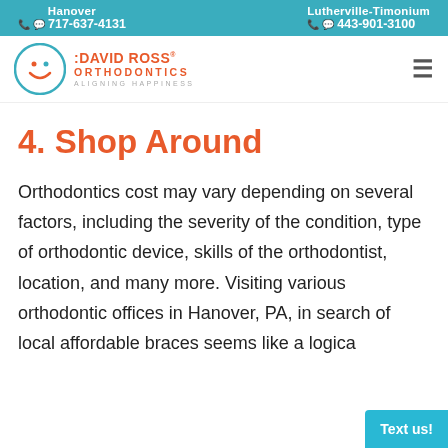Hanover 717-637-4131 | Lutherville-Timonium 443-901-3100
[Figure (logo): David Ross Orthodontics logo with smiley face circle icon and text 'DAVID ROSS ORTHODONTICS ALIGNING HAPPINESS']
4. Shop Around
Orthodontics cost may vary depending on several factors, including the severity of the condition, type of orthodontic device, skills of the orthodontist, location, and many more. Visiting various orthodontic offices in Hanover, PA, in search of local affordable braces seems like a logica